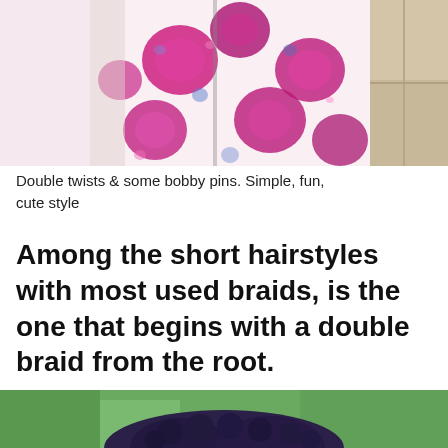[Figure (photo): Person wearing a white dress with pink and magenta floral print, photographed from torso down, standing near a tiled wall. Shows a double-twist hairstyle accessory (bobby pins).]
Double twists & some bobby pins. Simple, fun, cute style
Among the short hairstyles with most used braids, is the one that begins with a double braid from the root.
[Figure (photo): Close-up photo of a person's dark curly/braided hair bun outdoors, with green trees visible in the background.]